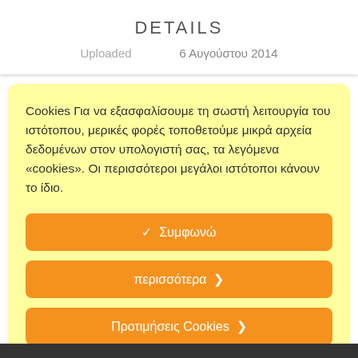DETAILS
Uploaded   6 Αυγούστου 2014
Cookies Για να εξασφαλίσουμε τη σωστή λειτουργία του ιστότοπου, μερικές φορές τοποθετούμε μικρά αρχεία δεδομένων στον υπολογιστή σας, τα λεγόμενα «cookies». Οι περισσότεροι μεγάλοι ιστότοποι κάνουν το ίδιο.
✓  Συμφωνώ
περισσότερα  ❯
Προτιμήσεις Cookies  ❯